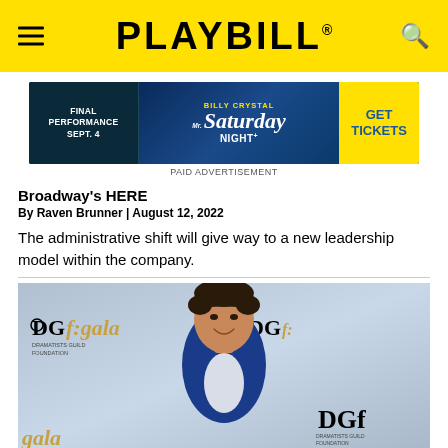PLAYBILL
[Figure (photo): Advertisement for Mr. Saturday Night featuring Billy Crystal - Final Performance Sept. 4 - Get Tickets]
PAID ADVERTISEMENT
Broadway's HERE
By Raven Brunner | August 12, 2022
The administrative shift will give way to a new leadership model within the company.
[Figure (photo): Man in blue blazer smiling at DGF Gala event, standing in front of Dramatists Guild Foundation gala backdrop with gold and black logos]